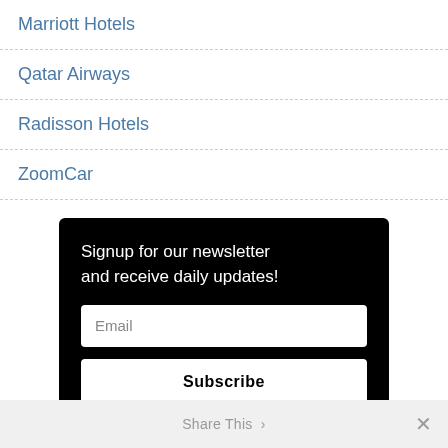Marriott Hotels
Qatar Airways
Radisson Hotels
ZoomCar
Signup for our newsletter and receive daily updates!
Email
Subscribe
Share This ›